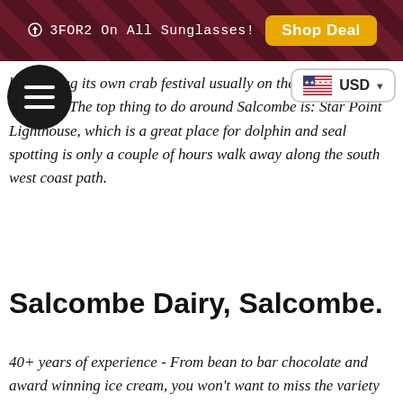3FOR2 On All Sunglasses! Shop Deal
b - Hosting its own crab festival usually on the bank holiday weekend. The top thing to do around Salcombe is: Star Point Lighthouse, which is a great place for dolphin and seal spotting is only a couple of hours walk away along the south west coast path.
Salcombe Dairy, Salcombe.
40+ years of experience - From bean to bar chocolate and award winning ice cream, you won't want to miss the variety of